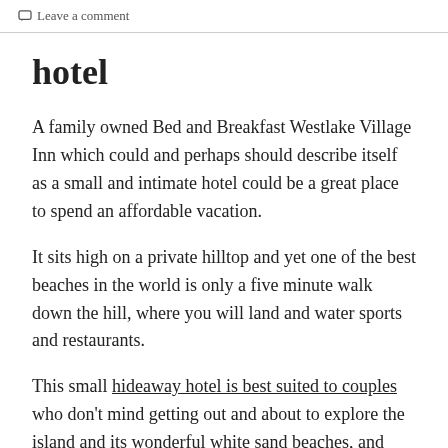Leave a comment
hotel
A family owned Bed and Breakfast Westlake Village Inn which could and perhaps should describe itself as a small and intimate hotel could be a great place to spend an affordable vacation.
It sits high on a private hilltop and yet one of the best beaches in the world is only a five minute walk down the hill, where you will land and water sports and restaurants.
This small hideaway hotel is best suited to couples who don't mind getting out and about to explore the island and its wonderful white sand beaches, and who are looking for personal touches, and not the